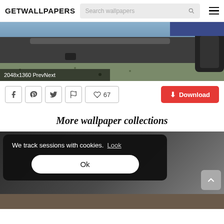GETWALLPAPERS
[Figure (screenshot): Partial car undercarriage/bumper wallpaper image with label '2048x1360 PrevNext']
2048x1360 PrevNext
[Figure (infographic): Action buttons row: Facebook, Pinterest, Twitter, Flag, heart/67 likes, and red Download button]
More wallpaper collections
[Figure (screenshot): Wallpaper collections preview area with dark background and partial animal image at bottom]
We track sessions with cookies.  Look
Ok